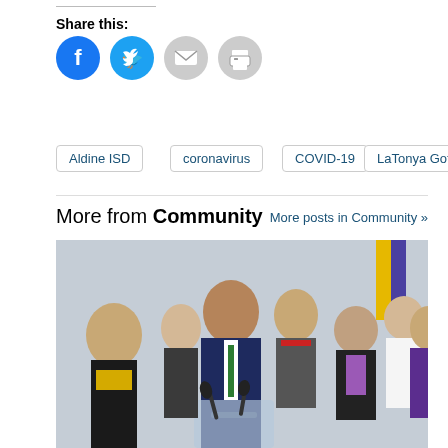Share this:
[Figure (other): Social sharing icons: Facebook (blue circle), Twitter (blue circle), Email (gray circle), Print (gray circle)]
Aldine ISD
coronavirus
COVID-19
LaTonya Goffney
More from Community
More posts in Community »
[Figure (photo): Press conference photo showing a man in a navy suit with a green tie speaking at a clear podium, surrounded by a group of people including a woman in a yellow top on the left and a woman in a purple blazer on the right.]